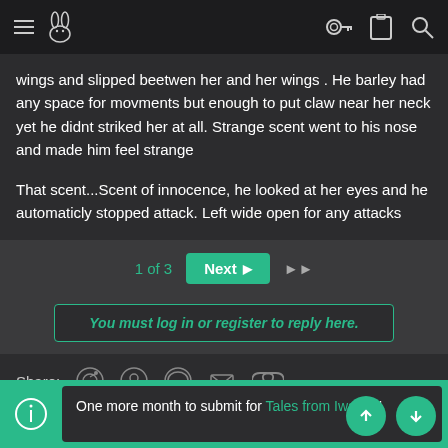Navigation bar with hamburger menu, logo, key icon, clipboard icon, and search icon
wings and slipped beetwen her and her wings . He barley had any space for movments but enough to put claw near her neck yet he didnt striked her at all. Strange scent went to his nose and made him feel strange
That scent...Scent of innocence, he looked at her eyes and he automaticly stopped attack. Left wide open for any attacks
1 of 3  Next  ▶▶
You must log in or register to reply here.
Share:
One more month to submit for Tales from Iwaku!!!